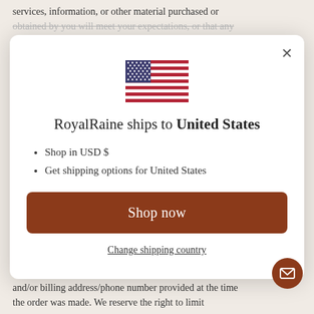services, information, or other material purchased or obtained by you will meet your expectations, or that any
[Figure (screenshot): Modal dialog showing RoyalRaine ships to United States with US flag, shop in USD $, get shipping options for United States, Shop now button, and Change shipping country link]
and/or billing address/phone number provided at the time the order was made. We reserve the right to limit